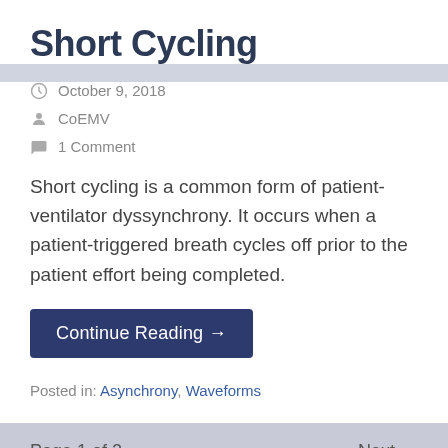Short Cycling
October 9, 2018
CoEMV
1 Comment
Short cycling is a common form of patient-ventilator dyssynchrony. It occurs when a patient-triggered breath cycles off prior to the patient effort being completed.
Continue Reading →
Posted in: Asynchrony, Waveforms
Page 1 of 2
Next →
About the CoEMV